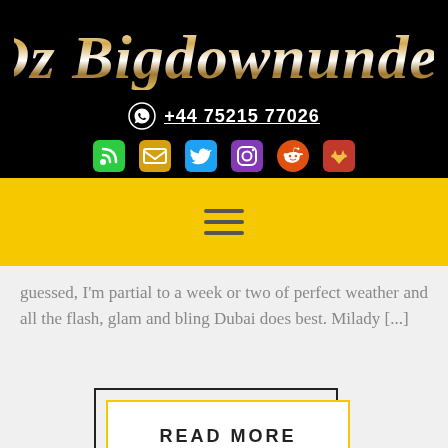Oz Bigdownunder
+44 75215 77026
[Figure (other): Social media icons: RSS feed (green), Email (yellow), Twitter (blue), Instagram (purple), Reddit (orange-red), GitLab/Foxy (red)]
[Figure (other): Hamburger menu icon (three horizontal lines) on yellow navigation bar]
guessed, I'm partial to a week or two of perfect weather and all the flash, glam and bling Dubai does best. Milady [...]
READ MORE